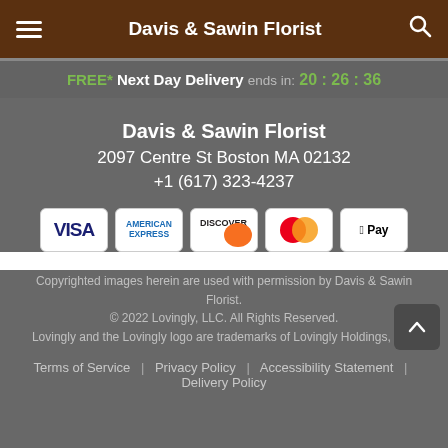Davis & Sawin Florist
FREE* Next Day Delivery ends in: 20:26:36
Davis & Sawin Florist
2097 Centre St Boston MA 02132
+1 (617) 323-4237
[Figure (other): Payment method icons: Visa, American Express, Discover, Mastercard, Apple Pay]
Copyrighted images herein are used with permission by Davis & Sawin Florist.
© 2022 Lovingly, LLC. All Rights Reserved.
Lovingly and the Lovingly logo are trademarks of Lovingly Holdings, LLC
Terms of Service | Privacy Policy | Accessibility Statement | Delivery Policy